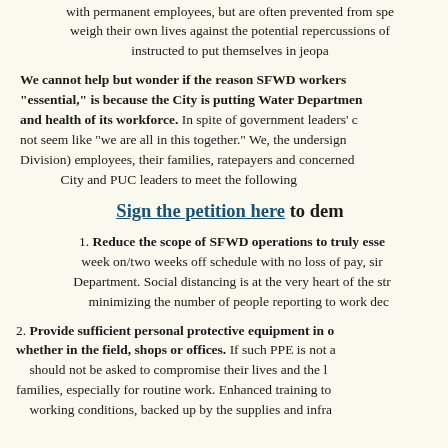with permanent employees, but are often prevented from speaking out because they must weigh their own lives against the potential repercussions of doing so. They should not be instructed to put themselves in jeopardy.
We cannot help but wonder if the reason SFWD workers have been deemed "essential," is because the City is putting Water Department profits above the safety and health of its workforce. In spite of government leaders' calls for solidarity, this does not seem like "we are all in this together." We, the undersigned (SFWD Water & Power Division) employees, their families, ratepayers and concerned citizens urge San Francisco City and PUC leaders to meet the following demands:
Sign the petition here to dem
1. Reduce the scope of SFWD operations to truly esse week on/two weeks off schedule with no loss of pay, si Department. Social distancing is at the very heart of the str minimizing the number of people reporting to work dec
2. Provide sufficient personal protective equipment in o whether in the field, shops or offices. If such PPE is not a should not be asked to compromise their lives and the l families, especially for routine work. Enhanced training to working conditions, backed up by the supplies and infra